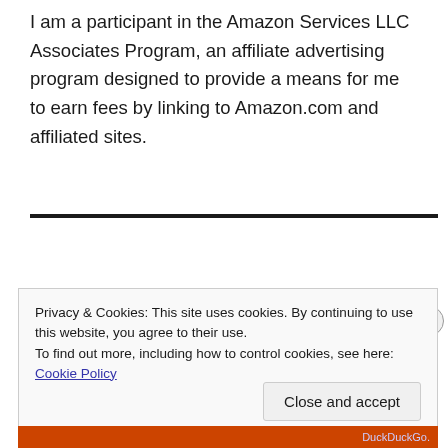I am a participant in the Amazon Services LLC Associates Program, an affiliate advertising program designed to provide a means for me to earn fees by linking to Amazon.com and affiliated sites.
Privacy & Cookies: This site uses cookies. By continuing to use this website, you agree to their use.
To find out more, including how to control cookies, see here: Cookie Policy